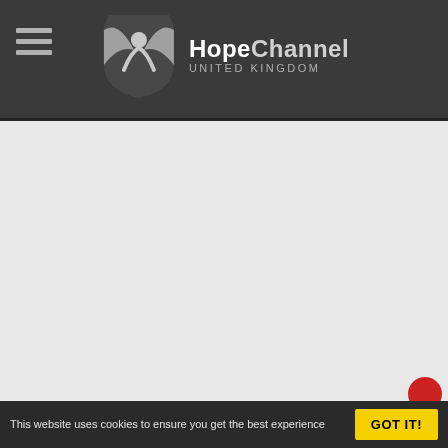HopeChannel UNITED KINGDOM
[Figure (screenshot): Large light grey blank content area, main page body with no visible content loaded]
This website uses cookies to ensure you get the best experience   GOT IT!